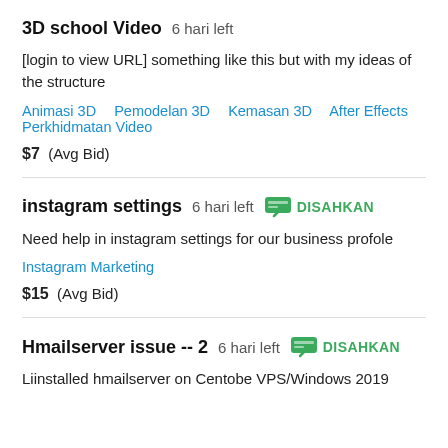3D school Video  6 hari left
[login to view URL] something like this but with my ideas of the structure
Animasi 3D   Pemodelan 3D   Kemasan 3D   After Effects   Perkhidmatan Video
$7  (Avg Bid)
instagram settings  6 hari left  DISAHKAN
Need help in instagram settings for our business profole
Instagram Marketing
$15  (Avg Bid)
Hmailserver issue -- 2  6 hari left  DISAHKAN
Liinstalled hmailserver on Centobe VPS/Windows 2019